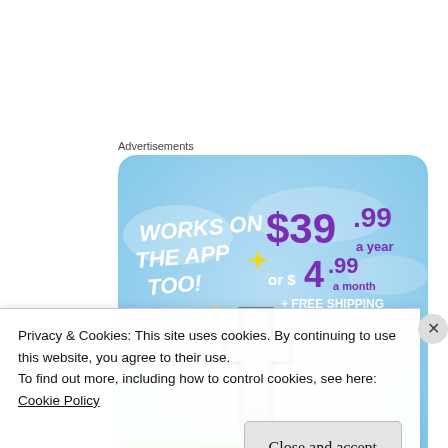Advertisements
[Figure (illustration): Advertisement banner showing Tumblr app promotion. Sky blue cloudy background with Tumblr 't' logo in white/purple/pink. Text: WORKS ON THE APP TOO! $39.99 a year or $4.99 a month + FREE SHIPPING. Yellow sparkle stars decorations.]
Privacy & Cookies: This site uses cookies. By continuing to use this website, you agree to their use.
To find out more, including how to control cookies, see here:
Cookie Policy
Close and accept